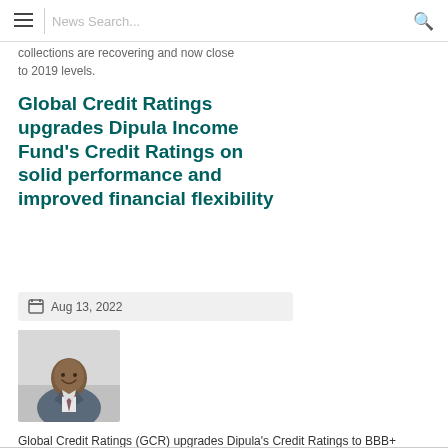News Search...
collections are recovering and now close to 2019 levels.
Global Credit Ratings upgrades Dipula Income Fund's Credit Ratings on solid performance and improved financial flexibility
Aug 13, 2022
[Figure (photo): Professional headshot of a man in a suit and tie, smiling, against a light background]
Global Credit Ratings (GCR) upgrades Dipula's Credit Ratings to BBB+(ZA)/A2(ZA) on solid...